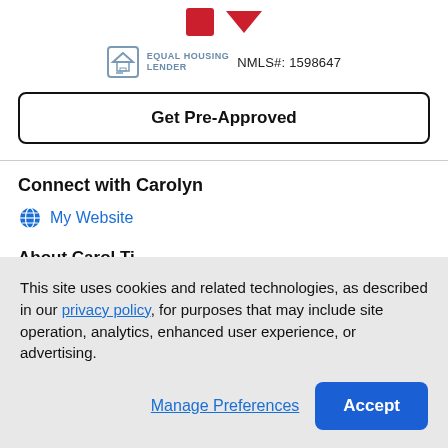[Figure (logo): Red square logo and red downward chevron arrow, partial brand logo at top]
EQUAL HOUSING LENDER  NMLS#: 1598647
Get Pre-Approved
Connect with Carolyn
My Website
This site uses cookies and related technologies, as described in our privacy policy, for purposes that may include site operation, analytics, enhanced user experience, or advertising.
Manage Preferences
Accept